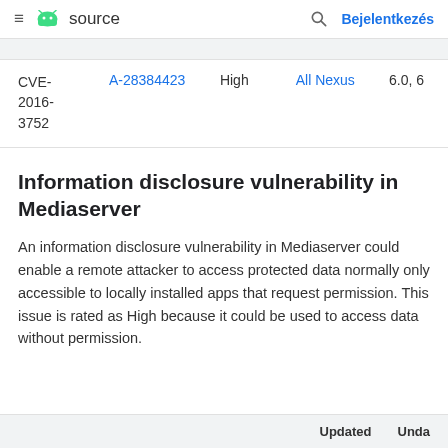≡  source   🔍  Bejelentkezés
| CVE | References | Severity | Updated Nexus devices | Updated AOSP versions |
| --- | --- | --- | --- | --- |
| CVE-2016-3752 | A-28384423 | High | All Nexus | 6.0, 6 |
Information disclosure vulnerability in Mediaserver
An information disclosure vulnerability in Mediaserver could enable a remote attacker to access protected data normally only accessible to locally installed apps that request permission. This issue is rated as High because it could be used to access data without without permission.
| Updated | Unda |
| --- | --- |